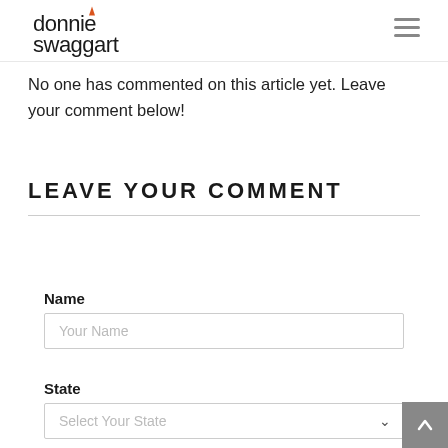donnie swaggart — navigation logo and hamburger menu
No one has commented on this article yet. Leave your comment below!
LEAVE YOUR COMMENT
Name
Your Name
State
Select Your State